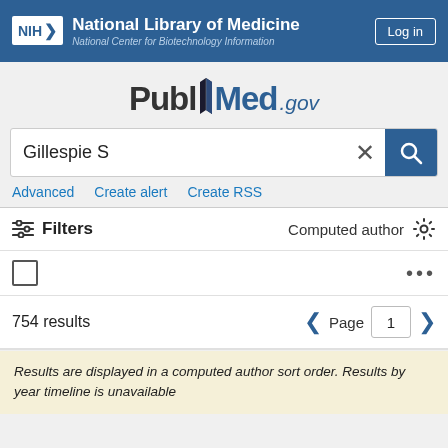NIH National Library of Medicine National Center for Biotechnology Information Log in
[Figure (logo): PubMed.gov logo with stylized open book between 'Publ' and 'Med']
Gillespie S
Advanced   Create alert   Create RSS
Filters   Computed author
754 results   Page 1
Results are displayed in a computed author sort order. Results by year timeline is unavailable